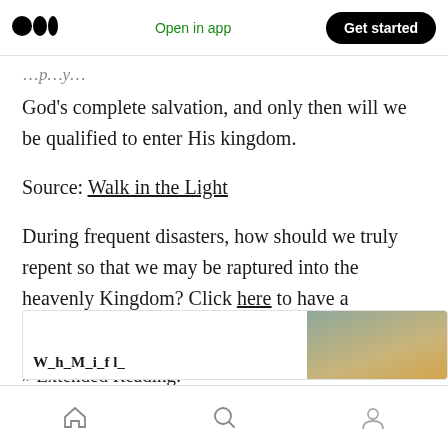Open in app | Get started
God's complete salvation, and only then will we be qualified to enter His kingdom.
Source: Walk in the Light
During frequent disasters, how should we truly repent so that we may be raptured into the heavenly Kingdom? Click here to have a discussion with us online.
» Extended Reading:
[Figure (screenshot): Preview card of an article with partial title text visible and a landscape image on the right side]